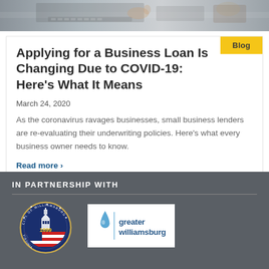[Figure (photo): Photo of a person working at a desk with a laptop and calculator, business loan/finance context]
Blog
Applying for a Business Loan Is Changing Due to COVID-19: Here's What It Means
March 24, 2020
As the coronavirus ravages businesses, small business lenders are re-evaluating their underwriting policies. Here's what every business owner needs to know.
Read more ›
IN PARTNERSHIP WITH
[Figure (logo): City of Williamsburg seal logo, circular blue seal with 1699 and American flag imagery]
[Figure (logo): Greater Williamsburg logo with blue water drop icon and text 'greater williamsburg']